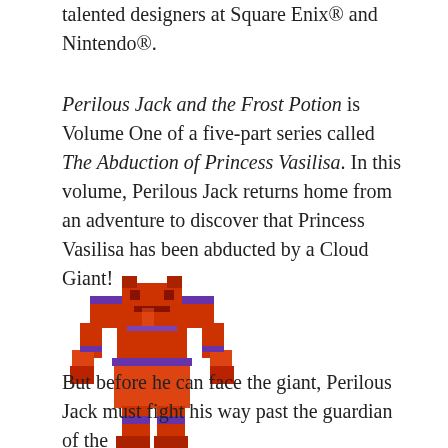talented designers at Square Enix® and Nintendo®.
Perilous Jack and the Frost Potion is Volume One of a five-part series called The Abduction of Princess Vasilisa. In this volume, Perilous Jack returns home from an adventure to discover that Princess Vasilisa has been abducted by a Cloud Giant!
[Figure (illustration): Pixel art sprite of a large red muscular monster or giant character with purple accents, rendered in retro video game style.]
But before he can face the giant, Perilous Jack must fight his way past the guardian of the